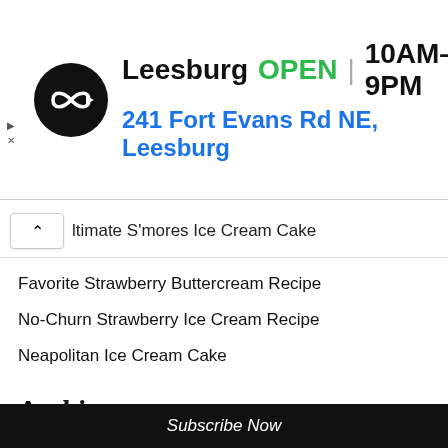[Figure (infographic): Ad banner for Baskin-Robbins Leesburg location: circular black logo with white infinity-arrow symbol, text showing 'Leesburg OPEN 10AM–9PM' and address '241 Fort Evans Rd NE, Leesburg', blue navigation diamond icon on right, small play and close icons on left edge]
ltimate S'mores Ice Cream Cake
Favorite Strawberry Buttercream Recipe
No-Churn Strawberry Ice Cream Recipe
Neapolitan Ice Cream Cake
Archives
August 2022
July 2022
June 2022
May 2022
Subscribe Now